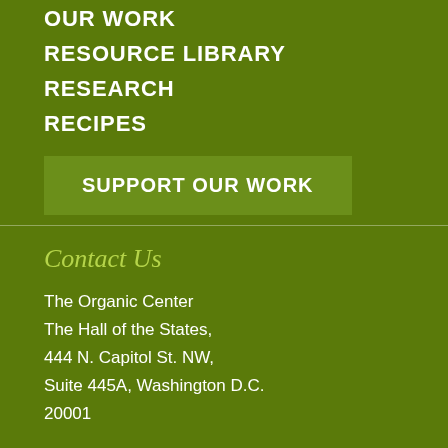OUR WORK
RESOURCE LIBRARY
RESEARCH
RECIPES
SUPPORT OUR WORK
Contact Us
The Organic Center
The Hall of the States,
444 N. Capitol St. NW,
Suite 445A, Washington D.C.
20001
Connect With Us